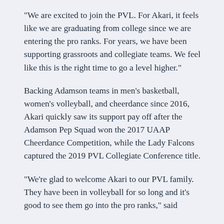“We are excited to join the PVL. For Akari, it feels like we are graduating from college since we are entering the pro ranks. For years, we have been supporting grassroots and collegiate teams. We feel like this is the right time to go a level higher.”
Backing Adamson teams in men’s basketball, women’s volleyball, and cheerdance since 2016, Akari quickly saw its support pay off after the Adamson Pep Squad won the 2017 UAAP Cheerdance Competition, while the Lady Falcons captured the 2019 PVL Collegiate Conference title.
“We’re glad to welcome Akari to our PVL family. They have been in volleyball for so long and it’s good to see them go into the pro ranks,” said